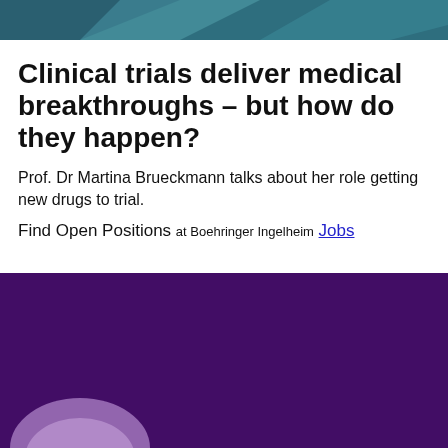[Figure (illustration): Abstract teal/dark blue geometric header banner with diagonal shapes]
Clinical trials deliver medical breakthroughs – but how do they happen?
Prof. Dr Martina Brueckmann talks about her role getting new drugs to trial.
Find Open Positions at Boehringer Ingelheim Jobs
[Figure (photo): Dark purple background photo, bottom portion showing a person, bottom of frame]